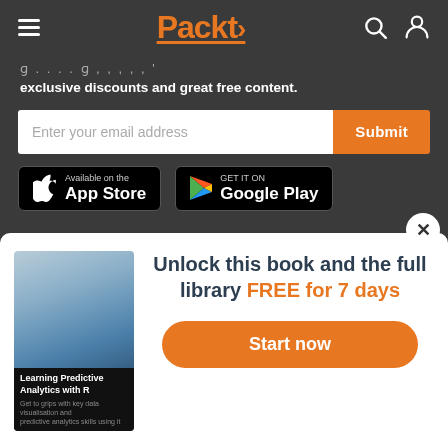[Figure (logo): Packt logo in orange with hamburger menu, search and user icons on dark background]
exclusive discounts and great free content.
[Figure (screenshot): Email input field with placeholder 'Enter your email address' and orange Submit button]
[Figure (screenshot): App Store and Google Play download buttons on dark background]
Useful Links
[Figure (screenshot): Modal popup with book cover for 'Learning Predictive Analytics with R', heading 'Unlock this book and the full library FREE for 7 days', and Start now button]